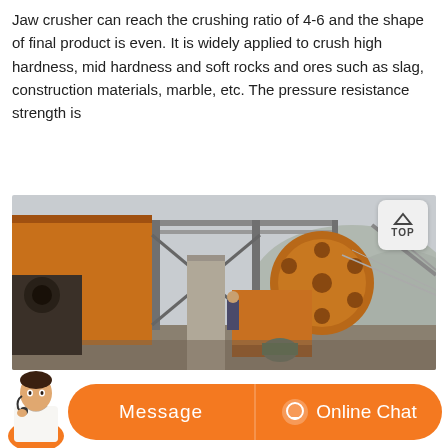Jaw crusher can reach the crushing ratio of 4-6 and the shape of final product is even. It is widely applied to crush high hardness, mid hardness and soft rocks and ores such as slag, construction materials, marble, etc. The pressure resistance strength is
[Figure (photo): Industrial jaw crusher machine at a quarry/mining site. Large orange crushing equipment with a flywheel visible, metal framework, conveyor belts, and workers in the background. Industrial outdoor setting with mountains visible.]